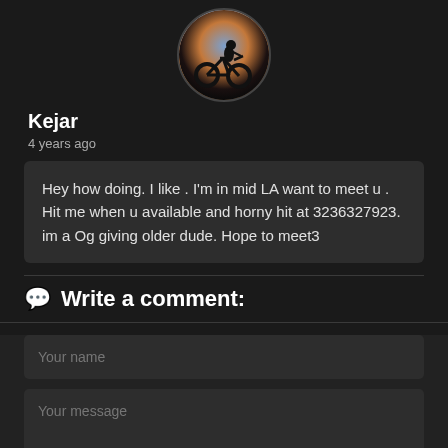[Figure (photo): Circular avatar showing silhouette of a person on a bicycle against a sunset background with purple and orange tones]
Kejar
4 years ago
Hey how doing. I like . I'm in mid LA want to meet u . Hit me when u available and horny hit at 3236327923. im a Og giving older dude. Hope to meet3
Write a comment:
Your name
Your message
Send